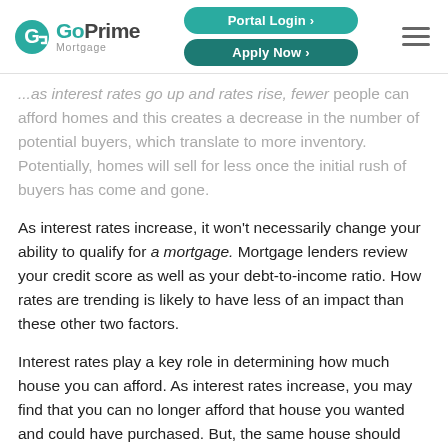GoPrime Mortgage | Portal Login | Apply Now
...as interest rates go up and rates rise, fewer people can afford homes and this creates a decrease in the number of potential buyers, which translate to more inventory. Potentially, homes will sell for less once the initial rush of buyers has come and gone.
As interest rates increase, it won't necessarily change your ability to qualify for a mortgage. Mortgage lenders review your credit score as well as your debt-to-income ratio. How rates are trending is likely to have less of an impact than these other two factors.
Interest rates play a key role in determining how much house you can afford. As interest rates increase, you may find that you can no longer afford that house you wanted and could have purchased. But, the same house should